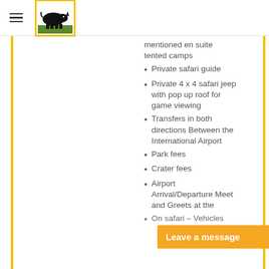[Figure (logo): Safari company logo: black rhinoceros silhouette grazing on green grass, inside a yellow-bordered square box]
mentioned en suite tented camps
Private safari guide
Private 4 x 4 safari jeep with pop up roof for game viewing
Transfers in both directions Between the International Airport
Park fees
Crater fees
Airport Arrival/Departure Meet and Greets at the
On safari – Vehicles (cut off)